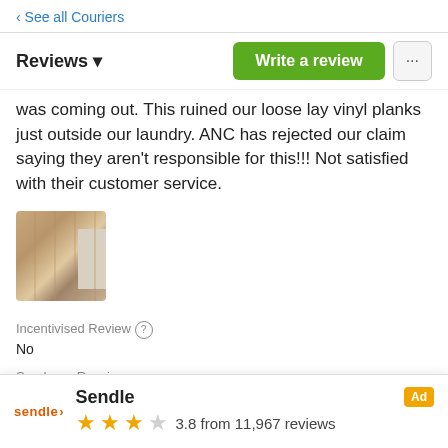‹ See all Couriers
Reviews ▾
was coming out. This ruined our loose lay vinyl planks just outside our laundry. ANC has rejected our claim saying they aren't responsible for this!!! Not satisfied with their customer service.
[Figure (photo): Thumbnail image of flooring/vinyl planks damage]
Incentivised Review (?)
No
Sender or Receiver
Sender
Delivery Time
Domestic
Sendle — Ad banner: 3.8 from 11,967 reviews